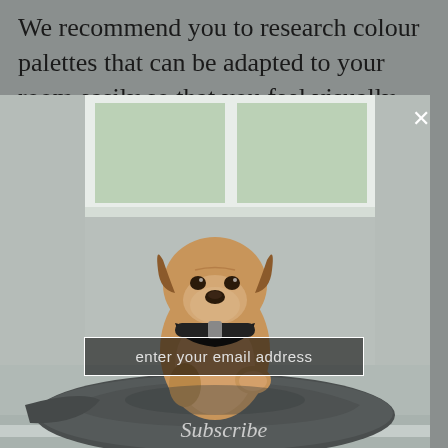We recommend you to research colour palettes that can be adapted to your room easily so that you feel visually satisfied when you enter your...
[Figure (photo): A small tan/golden pug-mix dog wearing a black collar, sitting upright on a dark grey dog bed cushion. In the background is a white-framed window with green foliage visible outside and white walls. The photo has a cool, neutral tone.]
enter your email address
Subscribe